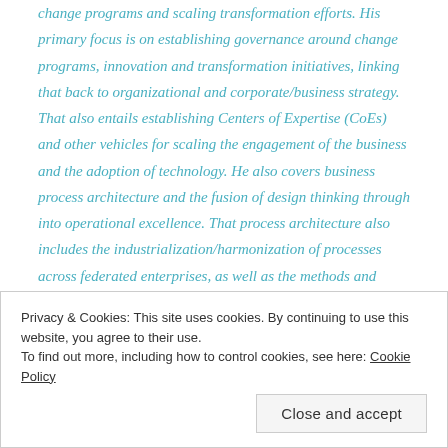change programs and scaling transformation efforts. His primary focus is on establishing governance around change programs, innovation and transformation initiatives, linking that back to organizational and corporate/business strategy. That also entails establishing Centers of Expertise (CoEs) and other vehicles for scaling the engagement of the business and the adoption of technology. He also covers business process architecture and the fusion of design thinking through into operational excellence. That process architecture also includes the industrialization/harmonization of processes across federated enterprises, as well as the methods and
Privacy & Cookies: This site uses cookies. By continuing to use this website, you agree to their use.
To find out more, including how to control cookies, see here: Cookie Policy
Close and accept